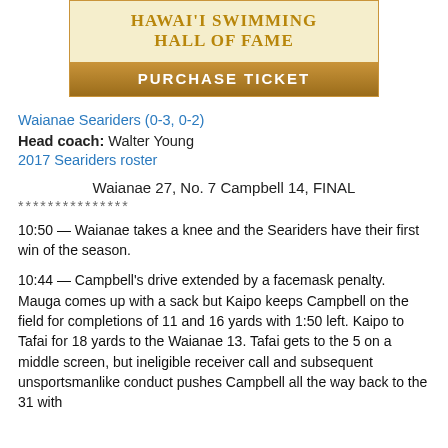[Figure (illustration): Hawai'i Swimming Hall of Fame banner with gold text on cream background, and a 'PURCHASE TICKET' gold bar below]
Waianae Seariders (0-3, 0-2)
Head coach: Walter Young
2017 Seariders roster
Waianae 27, No. 7 Campbell 14, FINAL
***************
10:50 — Waianae takes a knee and the Seariders have their first win of the season.
10:44 — Campbell's drive extended by a facemask penalty. Mauga comes up with a sack but Kaipo keeps Campbell on the field for completions of 11 and 16 yards with 1:50 left. Kaipo to Tafai for 18 yards to the Waianae 13. Tafai gets to the 5 on a middle screen, but ineligible receiver call and subsequent unsportsmanlike conduct pushes Campbell all the way back to the 31 with